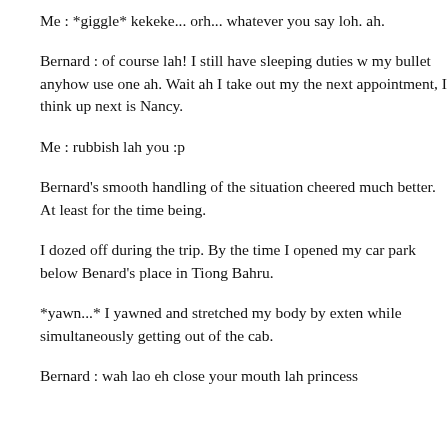Me : *giggle* kekeke... orh... whatever you say loh. ah.
Bernard : of course lah! I still have sleeping duties w my bullet anyhow use one ah. Wait ah I take out my the next appointment, I think up next is Nancy.
Me : rubbish lah you :p
Bernard's smooth handling of the situation cheered much better. At least for the time being.
I dozed off during the trip. By the time I opened my car park below Benard's place in Tiong Bahru.
*yawn...* I yawned and stretched my body by exten while simultaneously getting out of the cab.
Bernard : wah lao eh close your mouth lah princess